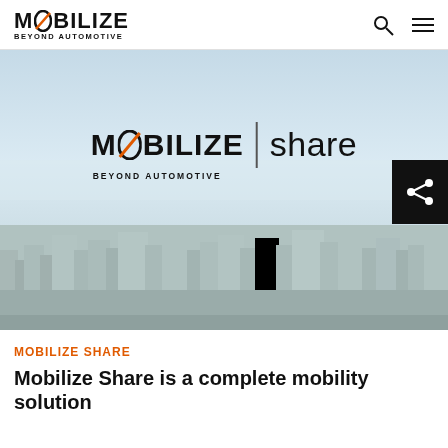MOBILIZE BEYOND AUTOMOTIVE
[Figure (photo): Aerial cityscape photo with hazy sky, overlaid with the Mobilize Share logo (MOBILIZE | share, BEYOND AUTOMOTIVE). A black share icon button is positioned in the top-right corner of the image.]
MOBILIZE SHARE
Mobilize Share is a complete mobility solution